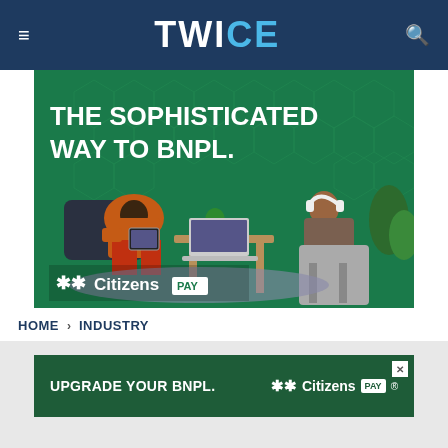TWICE
[Figure (photo): Advertisement for Citizens Pay showing two people in a stylized green room. Text reads: THE SOPHISTICATED WAY TO BNPL. Citizens Pay logo at bottom.]
HOME › INDUSTRY
[Figure (photo): Banner advertisement: UPGRADE YOUR BNPL. Citizens Pay logo with close button.]